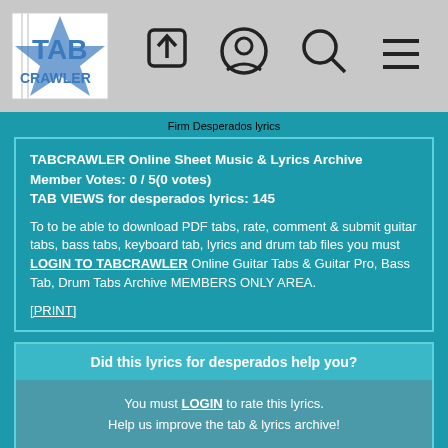[Figure (logo): TabCrawler logo with guitar tab icon and text TAB CRAWLER, plus navigation icons: upload, user profile, search, and hamburger menu]
Firm Desperados lyrics
TABCRAWLER Online Sheet Music & Lyrics Archive Member Votes: 0 / 5(0 votes) TAB VIEWS for desperados lyrics: 145 To to be able to download PDF tabs, rate, comment & submit guitar tabs, bass tabs, keyboard tab, lyrics and drum tab files you must LOGIN TO TABCRAWLER Online Guitar Tabs & Guitar Pro, Bass Tab, Drum Tabs Archive MEMBERS ONLY AREA. [PRINT]
Did this lyrics for desperados help you?
You must LOGIN to rate this lyrics. Help us improve the tab & lyrics archive!